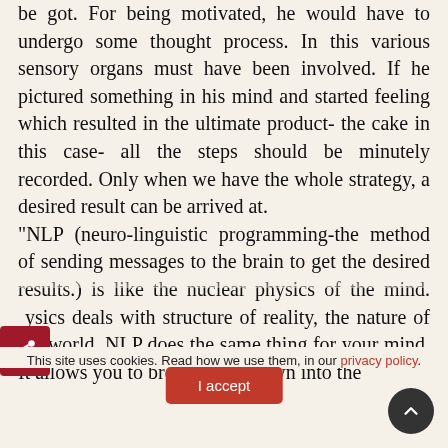be got. For being motivated, he would have to undergo some thought process. In this various sensory organs must have been involved. If he pictured something in his mind and started feeling which resulted in the ultimate product- the cake in this case- all the steps should be minutely recorded. Only when we have the whole strategy, a desired result can be arrived at. "NLP (neuro-linguistic programming-the method of sending messages to the brain to get the desired results.) is like the nuclear physics of the mind. Physics deals with structure of reality, the nature of the world. NLP does the same thing for your mind. It allows you to break things down into the
This site uses cookies. Read how we use them, in our privacy policy.
I accept